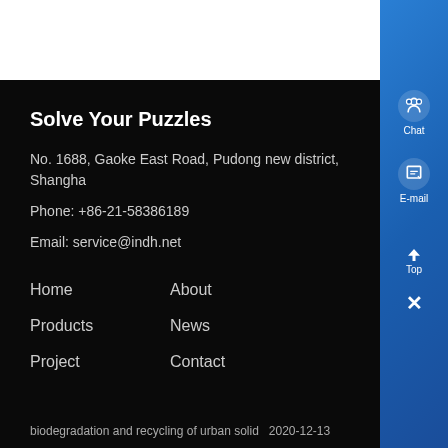Solve Your Puzzles
No. 1688, Gaoke East Road, Pudong new district, Shanghai
Phone: +86-21-58386189
Email: service@indh.net
Home
About
Products
News
Project
Contact
biodegradation and recycling of urban solid  2020-12-13